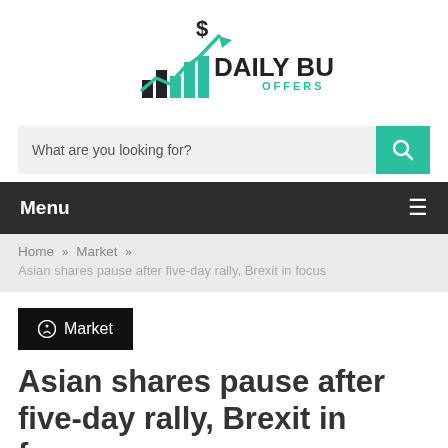[Figure (logo): Daily Buzz Offers logo with bar chart and dollar sign arrow graphic, teal and black color scheme]
What are you looking for?
Menu
Home » Market » Asian shares pause after five-day rally, Brexit in focus
Market
Asian shares pause after five-day rally, Brexit in focus